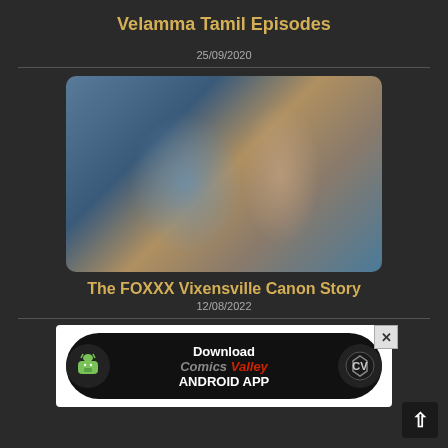Velamma Tamil Episodes
25/09/2020
[Figure (photo): Two people standing on stairs, one wearing a blue floral wrap/sarong and the other wearing teal board shorts, bodies visible from neck down]
The FOXXX Vixensville Canon Story
12/08/2022
[Figure (infographic): Advertisement banner for Comics Valley Android App download, with Android robot icon on left, Comics Valley logo text in center, and CV shield logo on right, on black pill-shaped background]